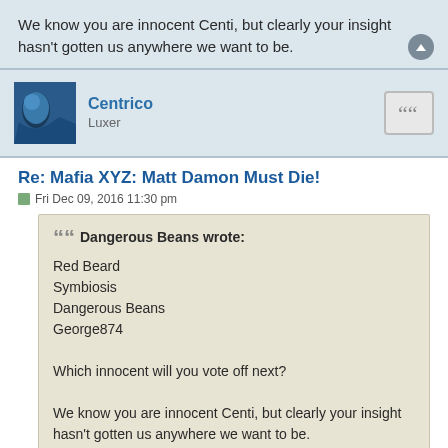We know you are innocent Centi, but clearly your insight hasn't gotten us anywhere we want to be.
Centrico
Luxer
Re: Mafia XYZ: Matt Damon Must Die!
Fri Dec 09, 2016 11:30 pm
Dangerous Beans wrote:
Red Beard
Symbiosis
Dangerous Beans
George874

Which innocent will you vote off next?

We know you are innocent Centi, but clearly your insight hasn't gotten us anywhere we want to be.
1. Red Beard (Killed by Dangerous Beans, Rogue, George, and who knows who else on Night 1)